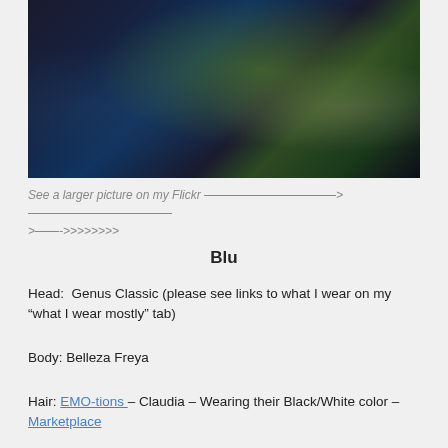[Figure (photo): A darkly lit 3D rendered scene with a green-skinned character and ropes, dark fantasy aesthetic]
See a larger picture on my Flickr ———————————>————————————>——->>>>>>>>
Blu
Head:  Genus Classic (please see links to what I wear on my “what I wear mostly” tab)
Body: Belleza Freya
Hair: EMO-tions – Claudia – Wearing their Black/White color – Marketplace